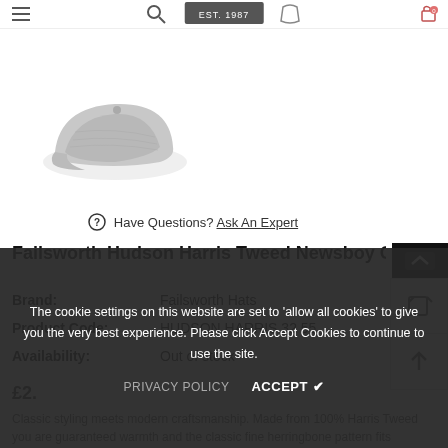EST. 1987
[Figure (photo): Grey flat cap / newsboy cap product photo on white background]
Have Questions? Ask An Expert
Failsworth Hudson Harris Tweed Newsboy C…
Brand: Failsworth Hats
Product Code: HUDSON HARRIS 32 55
Availability: Out of stock
£…
Classic styling meets modern craftsmanship. Made from 100% Harris Tweed you are guaranteed warmth and the classic fine herringbone pattern fits perfectly with any outfit. The cap's shape is a six panel
The cookie settings on this website are set to 'allow all cookies' to give you the very best experience. Please click Accept Cookies to continue to use the site.
PRIVACY POLICY   ACCEPT ✔